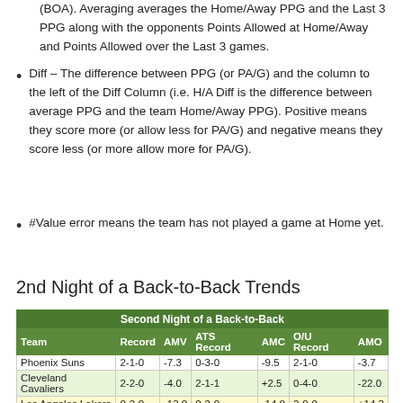(BOA). Averaging averages the Home/Away PPG and the Last 3 PPG along with the opponents Points Allowed at Home/Away and Points Allowed over the Last 3 games.
Diff – The difference between PPG (or PA/G) and the column to the left of the Diff Column (i.e. H/A Diff is the difference between average PPG and the team Home/Away PPG). Positive means they score more (or allow less for PA/G) and negative means they score less (or more allow more for PA/G).
#Value error means the team has not played a game at Home yet.
2nd Night of a Back-to-Back Trends
| Team | Record | AMV | ATS Record | AMC | O/U Record | AMO |
| --- | --- | --- | --- | --- | --- | --- |
| Phoenix Suns | 2-1-0 | -7.3 | 0-3-0 | -9.5 | 2-1-0 | -3.7 |
| Cleveland Cavaliers | 2-2-0 | -4.0 | 2-1-1 | +2.5 | 0-4-0 | -22.0 |
| Los Angeles Lakers | 0-2-0 | -13.0 | 0-2-0 | -14.8 | 2-0-0 | +14.3 |
| Indiana Pacers | 3-1-0 | 9.0 | 3-1-0 | +9.9 | 0-4-0 | -13.9 |